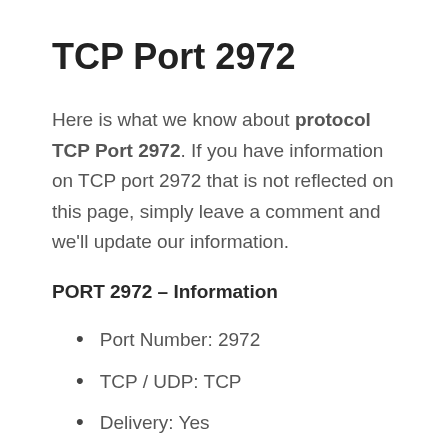TCP Port 2972
Here is what we know about protocol TCP Port 2972. If you have information on TCP port 2972 that is not reflected on this page, simply leave a comment and we'll update our information.
PORT 2972 – Information
Port Number: 2972
TCP / UDP: TCP
Delivery: Yes